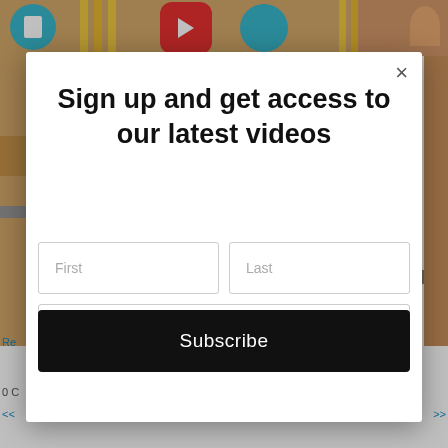[Figure (screenshot): Background webpage showing YouTube-related content with colorful header icons and navigation links partially visible behind a modal dialog]
Sign up and get access to our latest videos
First
Last
Email Address
Subscribe